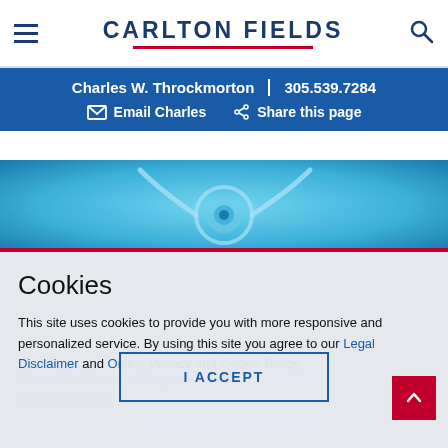Carlton Fields
Charles W. Throckmorton | 305.539.7284
Email Charles  Share this page
[Figure (photo): Close-up photo of a stethoscope against a blue background]
Cookies
This site uses cookies to provide you with more responsive and personalized service. By using this site you agree to our Legal Disclaimer and Online Privacy and Cookie Policy.
I ACCEPT